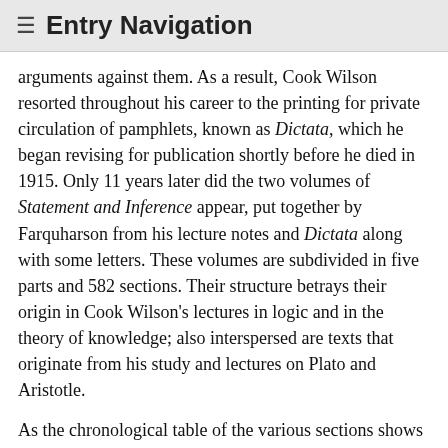≡ Entry Navigation
arguments against them. As a result, Cook Wilson resorted throughout his career to the printing for private circulation of pamphlets, known as Dictata, which he began revising for publication shortly before he died in 1915. Only 11 years later did the two volumes of Statement and Inference appear, put together by Farquharson from his lecture notes and Dictata along with some letters. These volumes are subdivided in five parts and 582 sections. Their structure betrays their origin in Cook Wilson's lectures in logic and in the theory of knowledge; also interspersed are texts that originate from his study and lectures on Plato and Aristotle.
As the chronological table of the various sections shows (SI, 888–9), the texts thus assembled were written at different dates and, in light of Cook Wilson's frequent change of mind (including his move away from idealism), they express views that are at times almost contradictory. This makes any study of his philosophy particularly difficult, and more often than not accounts of his views